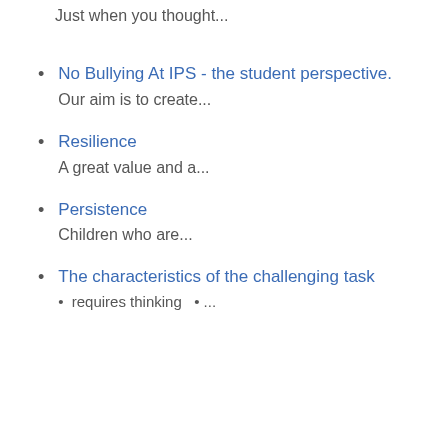Just when you thought...
No Bullying At IPS - the student perspective.
Our aim is to create...
Resilience
A great value and a...
Persistence
Children who are...
The characteristics of the challenging task
• requires thinking  •...